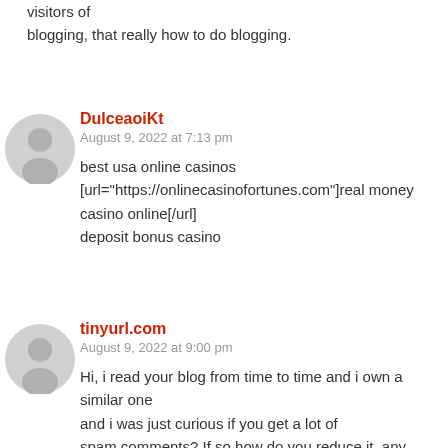visitors of blogging, that really how to do blogging.
DulceaoiKt
August 9, 2022 at 7:13 pm
best usa online casinos [url="https://onlinecasinofortunes.com"]real money casino online[/url] deposit bonus casino
tinyurl.com
August 9, 2022 at 9:00 pm
Hi, i read your blog from time to time and i own a similar one and i was just curious if you get a lot of spam comments? If so how do you reduce it, any